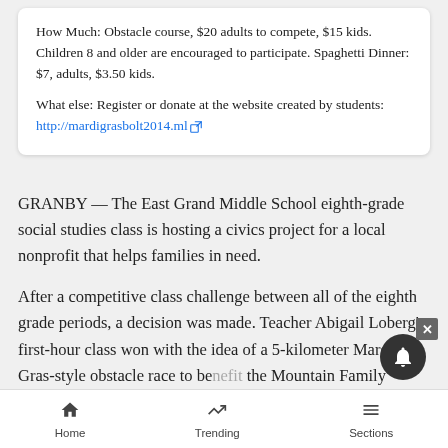How Much: Obstacle course, $20 adults to compete, $15 kids. Children 8 and older are encouraged to participate. Spaghetti Dinner: $7, adults, $3.50 kids.
What else: Register or donate at the website created by students: http://mardigrasbolt2014.ml
GRANBY — The East Grand Middle School eighth-grade social studies class is hosting a civics project for a local nonprofit that helps families in need.
After a competitive class challenge between all of the eighth grade periods, a decision was made. Teacher Abigail Loberg's first-hour class won with the idea of a 5-kilometer Mardi Gras-style obstacle race to benefit the Mountain Family Center, located in Granby.
Home  Trending  Sections